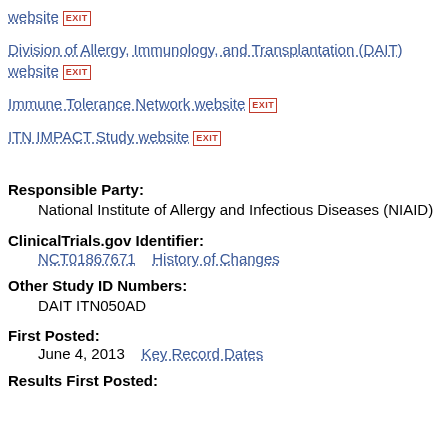website [EXIT]
Division of Allergy, Immunology, and Transplantation (DAIT) website [EXIT]
Immune Tolerance Network website [EXIT]
ITN IMPACT Study website [EXIT]
Responsible Party:
National Institute of Allergy and Infectious Diseases (NIAID)
ClinicalTrials.gov Identifier:
NCT01867671    History of Changes
Other Study ID Numbers:
DAIT ITN050AD
First Posted:
June 4, 2013    Key Record Dates
Results First Posted: